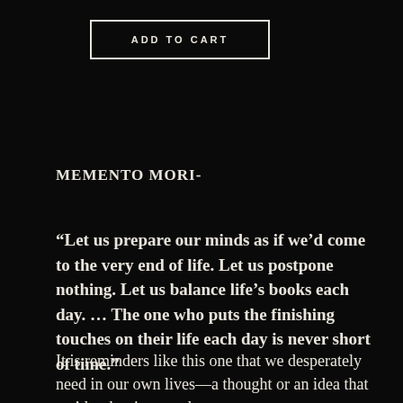[Figure (other): ADD TO CART button with rectangular border outline on black background]
MEMENTO MORI-
“Let us prepare our minds as if we’d come to the very end of life. Let us postpone nothing. Let us balance life’s books each day. … The one who puts the finishing touches on their life each day is never short of time.”
It is reminders like this one that we desperately need in our own lives—a thought or an idea that we’d rather ignore, do